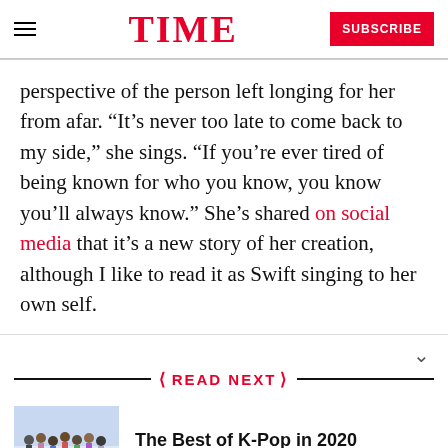TIME | SUBSCRIBE
perspective of the person left longing for her from afar. “It’s never too late to come back to my side,” she sings. “If you’re ever tired of being known for who you know, you know you’ll always know.” She’s shared on social media that it’s a new story of her creation, although I like to read it as Swift singing to her own self.
READ NEXT
[Figure (photo): Group photo of K-Pop artists]
The Best of K-Pop in 2020